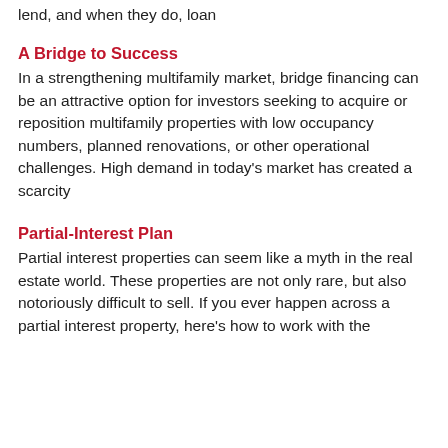lend, and when they do, loan
A Bridge to Success
In a strengthening multifamily market, bridge financing can be an attractive option for investors seeking to acquire or reposition multifamily properties with low occupancy numbers, planned renovations, or other operational challenges. High demand in today's market has created a scarcity
Partial-Interest Plan
Partial interest properties can seem like a myth in the real estate world. These properties are not only rare, but also notoriously difficult to sell. If you ever happen across a partial interest property, here's how to work with the